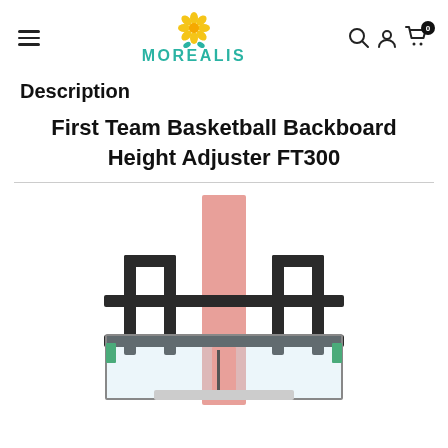MOREALIS (logo with flower icon)
Description
First Team Basketball Backboard Height Adjuster FT300
[Figure (photo): Basketball backboard height adjuster FT300 product photo showing a metal bracket system mounted on a pole with a clear glass backboard]